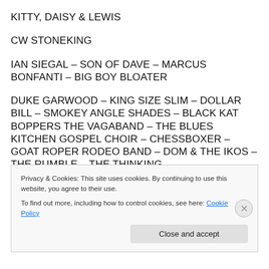KITTY, DAISY & LEWIS
CW STONEKING
IAN SIEGAL – SON OF DAVE – MARCUS BONFANTI – BIG BOY BLOATER
DUKE GARWOOD – KING SIZE SLIM – DOLLAR BILL – SMOKEY ANGLE SHADES – BLACK KAT BOPPERS THE VAGABAND – THE BLUES KITCHEN GOSPEL CHOIR – CHESSBOXER – GOAT ROPER RODEO BAND – DOM & THE IKOS – THE RUMBLE – THE THINKING
Privacy & Cookies: This site uses cookies. By continuing to use this website, you agree to their use.
To find out more, including how to control cookies, see here: Cookie Policy
Close and accept